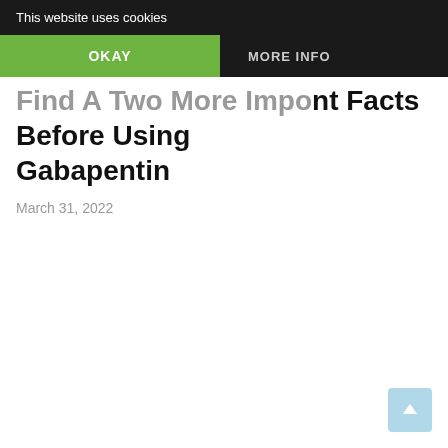This website uses cookies
OKAY | MORE INFO
Find A Two More Important Facts Before Using Gabapentin
March 31, 2022